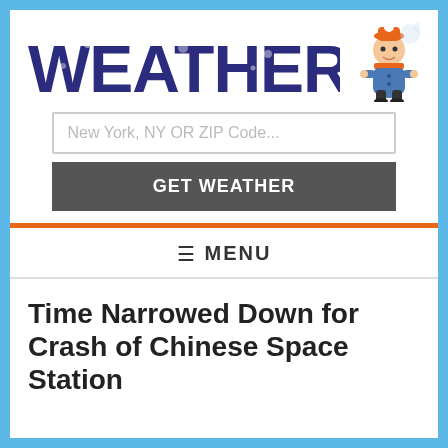[Figure (logo): Weatherboy website logo with large dark blue stylized text WEATHERBOY and a cartoon boy mascot wearing an orange hat and blue coat]
New York, NY OR ZIP Code...
GET WEATHER
≡ MENU
Time Narrowed Down for Crash of Chinese Space Station